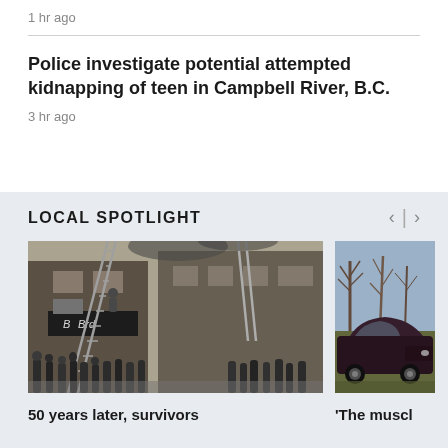1 hr ago
Police investigate potential attempted kidnapping of teen in Campbell River, B.C.
3 hr ago
LOCAL SPOTLIGHT
[Figure (photo): Black and white historical photo of firefighters with ladders at a building fire, crowd of people watching.]
[Figure (photo): Color photo of a dark muscle car parked in a field with bare trees in the background.]
50 years later, survivors
'The muscl